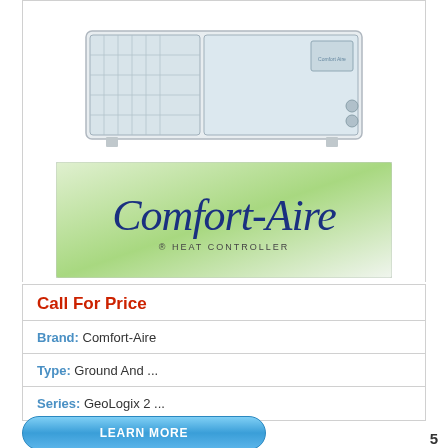[Figure (photo): White horizontal HVAC unit/heat pump product photo]
[Figure (logo): Comfort-Aire brand logo with green gradient background and blue italic script text]
Call For Price
Brand: Comfort-Aire
Type: Ground And ...
Series: GeoLogix 2 ...
LEARN MORE
5